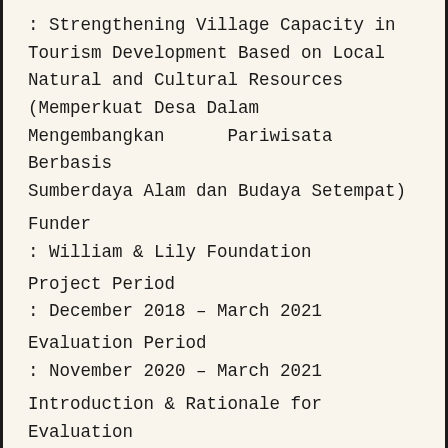: Strengthening Village Capacity in Tourism Development Based on Local Natural and Cultural Resources (Memperkuat Desa Dalam Mengembangkan      Pariwisata Berbasis Sumberdaya Alam dan Budaya Setempat)
Funder
: William & Lily Foundation
Project Period
: December 2018 – March 2021
Evaluation Period
: November 2020 – March 2021
Introduction & Rationale for Evaluation
The William & Lily Foundation (WLF) is